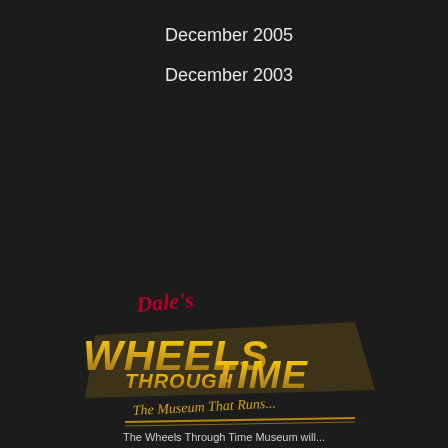December 2005
December 2003
[Figure (logo): Dale's Wheels Through Time - The Museum That Runs logo, featuring stylized golden text 'WHEELS THROUGH TIME' with 'Dale's' in red script above and 'The Museum That Runs' in gold script below, on a dark background]
The Wheels Through Time Museum will...